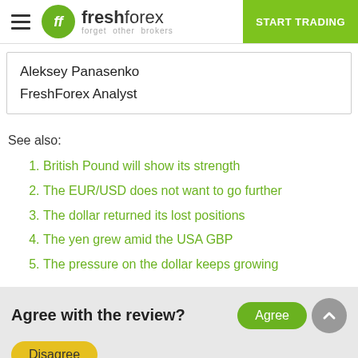freshforex — forget other brokers | START TRADING
Aleksey Panasenko
FreshForex Analyst
See also:
British Pound will show its strength
The EUR/USD does not want to go further
The dollar returned its lost positions
The yen grew amid the USA GBP
The pressure on the dollar keeps growing
Agree with the review? Agree | Disagree